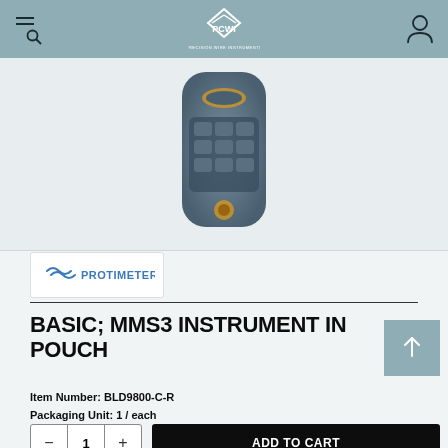PCWI
[Figure (photo): Product photo of MMS3 instrument – a handheld moisture meter device with grey body and gold accents, viewed from below]
[Figure (logo): Protimeter brand logo with blue wave symbol]
BASIC; MMS3 INSTRUMENT IN POUCH
Item Number: BLD9800-C-R
Packaging Unit: 1 / each
ADD TO CART